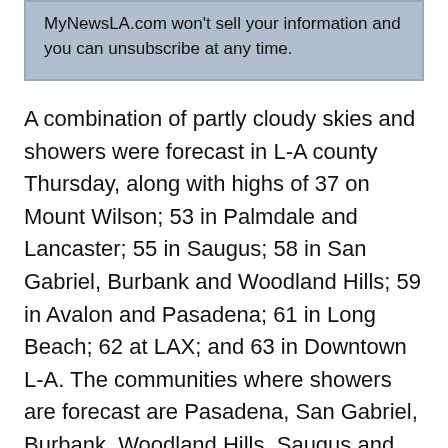MyNewsLA.com won't sell your information and you can unsubscribe at any time.
A combination of partly cloudy skies and showers were forecast in L-A county Thursday, along with highs of 37 on Mount Wilson; 53 in Palmdale and Lancaster; 55 in Saugus; 58 in San Gabriel, Burbank and Woodland Hills; 59 in Avalon and Pasadena; 61 in Long Beach; 62 at LAX; and 63 in Downtown L-A. The communities where showers are forecast are Pasadena, San Gabriel, Burbank, Woodland Hills, Saugus and Palmdale. Snow showers are forecast on Mount Wilson. Then, we'll have sunny weather at least through